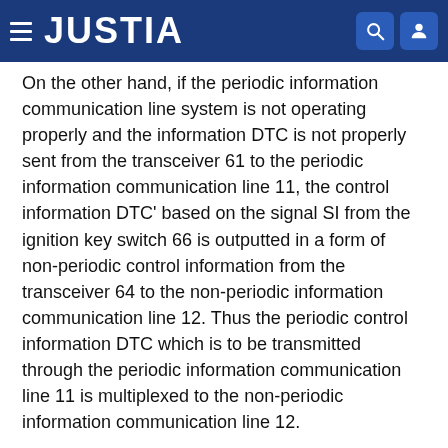JUSTIA
On the other hand, if the periodic information communication line system is not operating properly and the information DTC is not properly sent from the transceiver 61 to the periodic information communication line 11, the control information DTC' based on the signal SI from the ignition key switch 66 is outputted in a form of non-periodic control information from the transceiver 64 to the non-periodic information communication line 12. Thus the periodic control information DTC which is to be transmitted through the periodic information communication line 11 is multiplexed to the non-periodic information communication line 12.
In the column node 30, a detected signal SSC is supplied to the input-output processor 63 from the sensor 67 (step S11). In the input-output processor 63, after